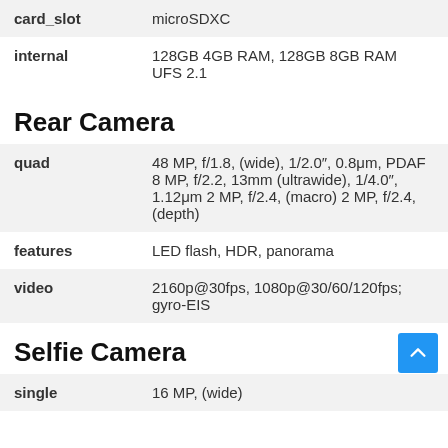| card_slot | microSDXC |
| internal | 128GB 4GB RAM, 128GB 8GB RAM UFS 2.1 |
Rear Camera
| quad | 48 MP, f/1.8, (wide), 1/2.0″, 0.8μm, PDAF 8 MP, f/2.2, 13mm (ultrawide), 1/4.0″, 1.12μm 2 MP, f/2.4, (macro) 2 MP, f/2.4, (depth) |
| features | LED flash, HDR, panorama |
| video | 2160p@30fps, 1080p@30/60/120fps; gyro-EIS |
Selfie Camera
| single | 16 MP, (wide) |